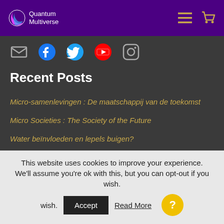Quantum Multiverse
[Figure (logo): Quantum Multiverse logo with crescent/circle icon and text, on purple header bar]
[Figure (illustration): Social media icons: email (envelope), Facebook, Twitter, YouTube, Instagram]
Recent Posts
Micro-samenlevingen : De maatschappij van de toekomst
Micro Societies : The Society of the Future
Water beïnvloeden en lepels buigen?
Influencing Water and Bending Spoons?
Wiens waarheid is de echte waarheid?
Whose truth is the real truth?
Quantum Manifestatie Door de Kracht van Je Hart
Quantum Manifestation Through the Power of Your Heart
This website uses cookies to improve your experience. We'll assume you're ok with this, but you can opt-out if you wish. Accept Read More